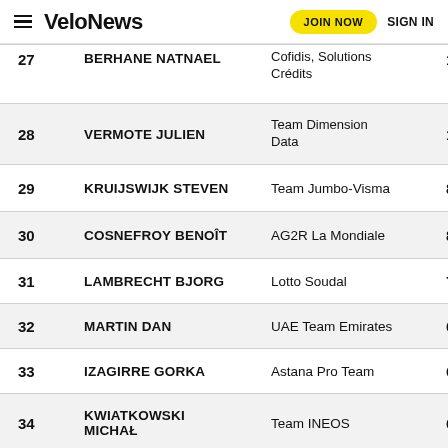VeloNews — JOIN NOW — SIGN IN
| # | Name | Team | Points |
| --- | --- | --- | --- |
| 27 | BERHANE Natnael | Cofidis, Solutions Crédits | 10 |
| 28 | VERMOTE Julien | Team Dimension Data | 10 |
| 29 | KRUIJSWIJK Steven | Team Jumbo-Visma | 8 |
| 30 | COSNEFROY Benoît | AG2R La Mondiale | 8 |
| 31 | LAMBRECHT Bjorg | Lotto Soudal | 7 |
| 32 | MARTIN Dan | UAE Team Emirates | 6 |
| 33 | IZAGIRRE Gorka | Astana Pro Team | 6 |
| 34 | KWIATKOWSKI Michał | Team INEOS | 6 |